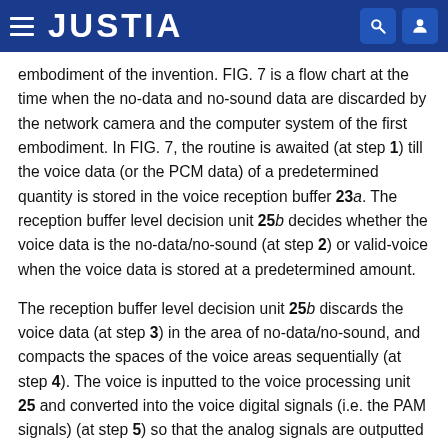JUSTIA
embodiment of the invention. FIG. 7 is a flow chart at the time when the no-data and no-sound data are discarded by the network camera and the computer system of the first embodiment. In FIG. 7, the routine is awaited (at step 1) till the voice data (or the PCM data) of a predetermined quantity is stored in the voice reception buffer 23a. The reception buffer level decision unit 25b decides whether the voice data is the no-data/no-sound (at step 2) or valid-voice when the voice data is stored at a predetermined amount.
The reception buffer level decision unit 25b discards the voice data (at step 3) in the area of no-data/no-sound, and compacts the spaces of the voice areas sequentially (at step 4). The voice is inputted to the voice processing unit 25 and converted into the voice digital signals (i.e. the PAM signals) (at step 5) so that the analog signals are outputted (at step 6) from the speaker 28 through